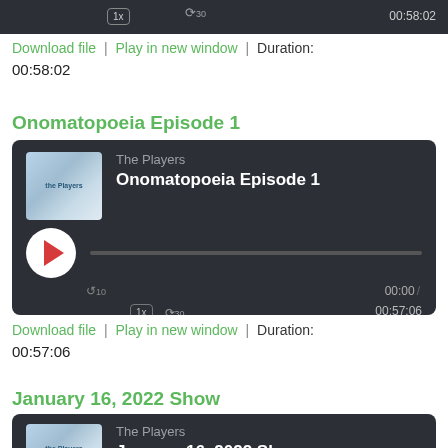[Figure (screenshot): Partial podcast player UI at top showing speed button 1x, skip forward 30, and duration 00:58:02 on dark background]
Download file | Play in new window | Duration: 00:58:02
Onomatopoeia Episode 1
[Figure (screenshot): Podcast player card for 'Onomatopoeia Episode 1' by The Players showing album art, play button, progress bar, time 00:00 / 00:57:06, speed 1x and skip 30 controls]
Download file | Play in new window | Duration: 00:57:06
January 16, 2022 Show
[Figure (screenshot): Partial podcast player card for 'January 16, 2022 Show' by The Players showing album art and title, card cut off at bottom]